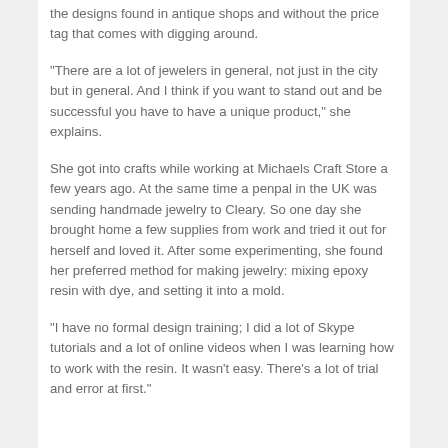the designs found in antique shops and without the price tag that comes with digging around.
“There are a lot of jewelers in general, not just in the city but in general. And I think if you want to stand out and be successful you have to have a unique product,” she explains.
She got into crafts while working at Michaels Craft Store a few years ago. At the same time a penpal in the UK was sending handmade jewelry to Cleary. So one day she brought home a few supplies from work and tried it out for herself and loved it. After some experimenting, she found her preferred method for making jewelry: mixing epoxy resin with dye, and setting it into a mold.
“I have no formal design training; I did a lot of Skype tutorials and a lot of online videos when I was learning how to work with the resin. It wasn’t easy. There’s a lot of trial and error at first.”